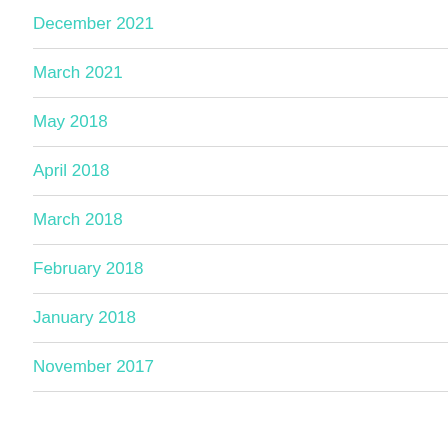December 2021
March 2021
May 2018
April 2018
March 2018
February 2018
January 2018
November 2017